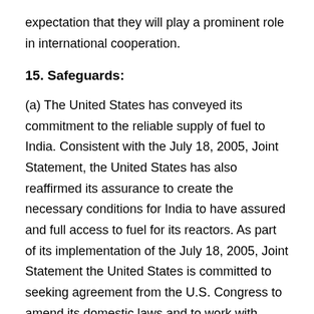expectation that they will play a prominent role in international cooperation.
15. Safeguards:
(a) The United States has conveyed its commitment to the reliable supply of fuel to India. Consistent with the July 18, 2005, Joint Statement, the United States has also reaffirmed its assurance to create the necessary conditions for India to have assured and full access to fuel for its reactors. As part of its implementation of the July 18, 2005, Joint Statement the United States is committed to seeking agreement from the U.S. Congress to amend its domestic laws and to work with friends and allies to adjust the practices of the Nuclear Suppliers Group to create the necessary conditions for India to obtain full access to the international fuel market, including reliable, uninterrupted